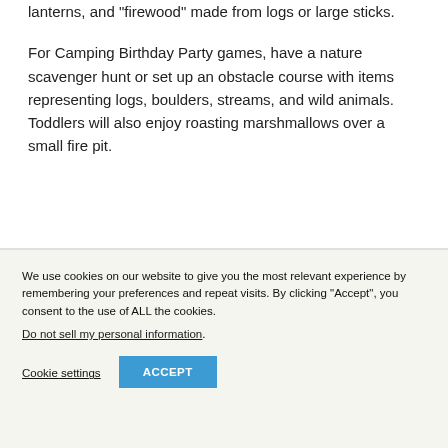lanterns, and "firewood" made from logs or large sticks.
For Camping Birthday Party games, have a nature scavenger hunt or set up an obstacle course with items representing logs, boulders, streams, and wild animals. Toddlers will also enjoy roasting marshmallows over a small fire pit.
We use cookies on our website to give you the most relevant experience by remembering your preferences and repeat visits. By clicking “Accept”, you consent to the use of ALL the cookies.
Do not sell my personal information.
Cookie settings
ACCEPT